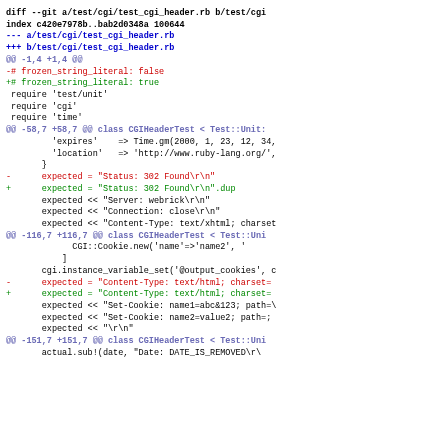[Figure (screenshot): Git diff output showing changes to test/cgi/test_cgi_header.rb, modifying frozen_string_literal from false to true, and changing expected string assignments to use .dup method.]